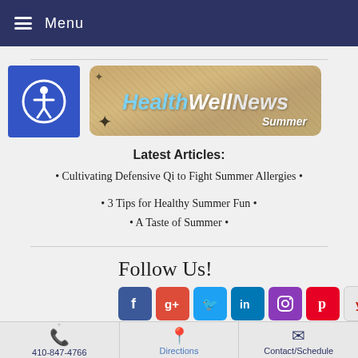Menu
[Figure (logo): HealthWellNews Summer newsletter logo on sandy/tan background with starfish decorations]
Latest Articles:
Cultivating Defensive Qi to Fight Summer Allergies
3 Tips for Healthy Summer Fun
A Taste of Summer
Follow Us!
[Figure (infographic): Social media icons: Facebook, Google+, Twitter, LinkedIn, Instagram, Pinterest, Yelp]
410-847-4766 | Directions | Contact/Schedule